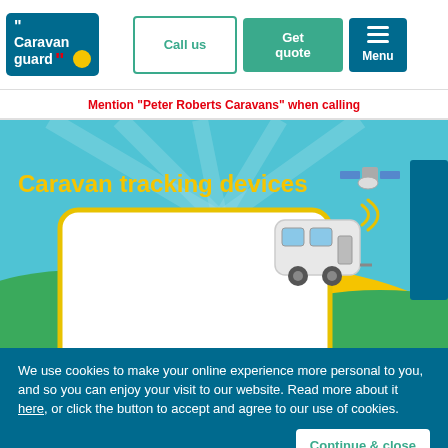[Figure (logo): Caravan Guard logo - blue box with white text and red quotation mark]
Call us
Get quote
Menu
Mention "Peter Roberts Caravans" when calling
Caravan tracking devices
[Figure (illustration): Illustration of a caravan with satellite tracking device on a green landscape with blue sky]
Live chat
We use cookies to make your online experience more personal to you, and so you can enjoy your visit to our website. Read more about it here, or click the button to accept and agree to our use of cookies.
Continue & close